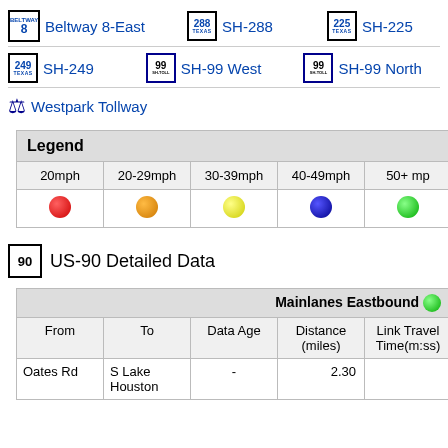Beltway 8-East
SH-288
SH-225
SH-249
SH-99 West
SH-99 North
Westpark Tollway
| Legend |  |  |  |  |
| --- | --- | --- | --- | --- |
| 20mph | 20-29mph | 30-39mph | 40-49mph | 50+ mp |
| red dot | orange dot | yellow dot | blue dot | green dot |
US-90 Detailed Data
| From | To | Data Age | Distance (miles) | Link Travel Time(m:ss) |
| --- | --- | --- | --- | --- |
| Oates Rd | S Lake Houston | - | 2.30 |  |